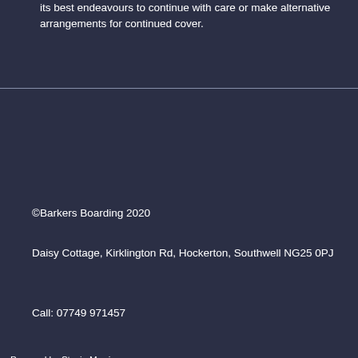its best endeavours to continue with care or make alternative arrangements for continued cover.
©Barkers Boarding 2020
Daisy Cottage, Kirklington Rd, Hockerton, Southwell NG25 0PJ
Call: 07749 971457
Powered by Stevie Morris
[Figure (logo): Facebook logo icon - blue square with white 'f']
[Figure (logo): Instagram logo icon - gradient square with camera icon]